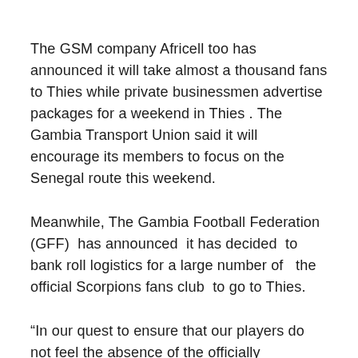The GSM company Africell too has announced it will take almost a thousand fans to Thies while private businessmen advertise packages for a weekend in Thies . The Gambia Transport Union said it will encourage its members to focus on the Senegal route this weekend.
Meanwhile, The Gambia Football Federation (GFF)  has announced  it has decided  to  bank roll logistics for a large number of   the official Scorpions fans club  to go to Thies.
“In our quest to ensure that our players do not feel the absence of the officially registered fans of the Scorpions, Football House this week disbursed D200,000:00 for the